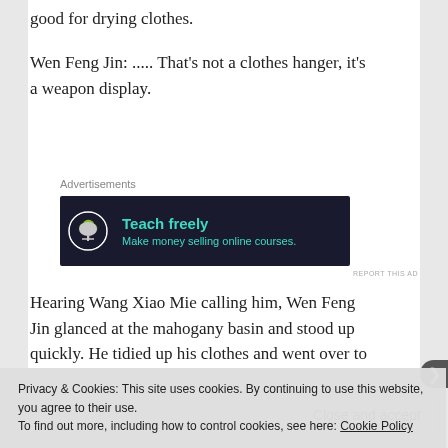good for drying clothes.
Wen Feng Jin: ..... That's not a clothes hanger, it's a weapon display.
Advertisements
[Figure (infographic): Dark banner ad: bonsai tree icon on left, text 'Teach freely' and 'Make money selling online courses.' in teal on dark background]
REPORT THIS AD
Hearing Wang Xiao Mie calling him, Wen Feng Jin glanced at the mahogany basin and stood up quickly. He tidied up his clothes and went over to
Privacy & Cookies: This site uses cookies. By continuing to use this website, you agree to their use.
To find out more, including how to control cookies, see here: Cookie Policy
Close and accept